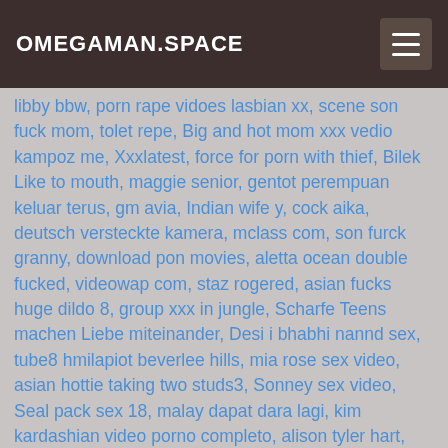OMEGAMAN.SPACE
libby bbw, porn rape vidoes lasbian xx, scene son fuck mom, tolet repe, Big and hot mom xxx vedio kampoz me, Xxxlatest, force for porn with thief, Bilek Like to mouth, maggie senior, gentot perempuan keluar terus, gm avia, Indian wife y, cock aika, deutsch versteckte kamera, mclass com, son furck granny, download pon movies, aletta ocean double fucked, videowap com, staz rogered, asian fucks huge dildo 8, group xxx in jungle, Scharfe Teens machen Liebe miteinander, Desi i bhabhi nannd sex, tube8 hmilapiot beverlee hills, mia rose sex video, asian hottie taking two studs3, Sonney sex video, Seal pack sex 18, malay dapat dara lagi, kim kardashian video porno completo, alison tyler hart, lesbian spit kiss, horny pussy need fuck, 2 tiny young teens, kannada sexyl videos, www xxx vdie, lipstick sakso, public agents chloe lamour, house weife sex video, balckedxxx com, big gals